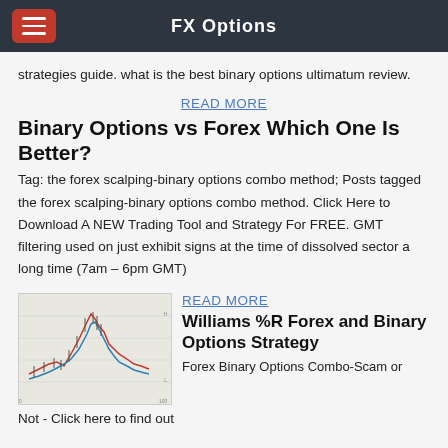FX Options
strategies guide. what is the best binary options ultimatum review.
READ MORE
Binary Options vs Forex Which One Is Better?
Tag: the forex scalping-binary options combo method; Posts tagged the forex scalping-binary options combo method. Click Here to Download A NEW Trading Tool and Strategy For FREE. GMT filtering used on just exhibit signs at the time of dissolved sector a long time (7am – 6pm GMT)
READ MORE
[Figure (screenshot): A financial chart showing price movements with blue and red trend lines, possibly a candlestick or line chart for a forex or binary options strategy.]
Williams %R Forex and Binary Options Strategy
Forex Binary Options Combo-Scam or
Not - Click here to find out